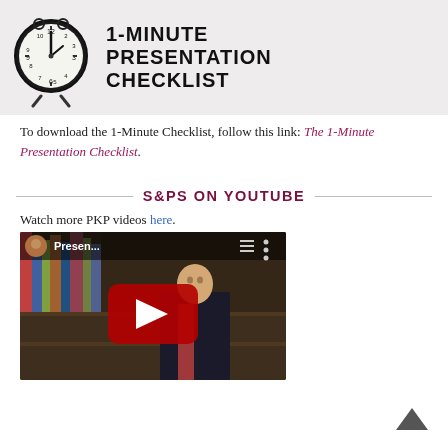[Figure (illustration): Banner image showing a clock on the left side and bold text reading '1-MINUTE PRESENTATION CHECKLIST' on the right, on a light gray background.]
To download the 1-Minute Checklist, follow this link: The 1-Minute Presentation Checklist.
S&PS ON YOUTUBE
Watch more PKP videos here.
[Figure (screenshot): YouTube video thumbnail showing a man in a suit standing in front of a bookshelf with a YouTube play button overlay, and text 'Presen...' at the top.]